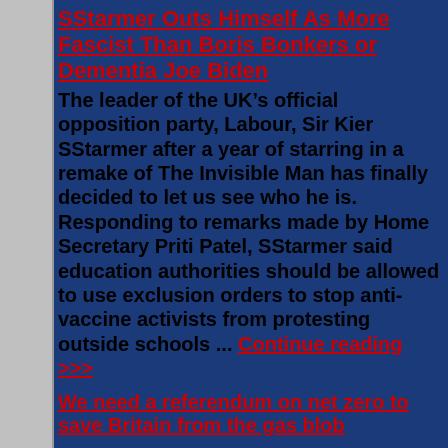SStarmer Outs Himself As More Fascist Than Boris Bonkers or Dementia Joe Biden
The leader of the UK’s official opposition party, Labour, Sir Kier SStarmer after a year of starring in a remake of The Invisible Man has finally decided to let us see who he is. Responding to remarks made by Home Secretary Priti Patel, SStarmer said education authorities should be allowed to use exclusion orders to stop anti-vaccine activists from protesting outside schools ... Continue reading >>>
We need a referendum on net zero to save Britain from the gas blob